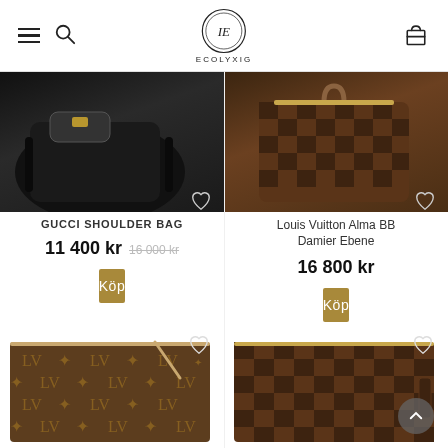ECOLYXIG
[Figure (photo): Gucci shoulder bag product image, black bag with gold hardware]
GUCCI SHOULDER BAG
11 400 kr  16 000 kr
Köp
[Figure (photo): Louis Vuitton Alma BB Damier Ebene product image, brown checkered bag]
Louis Vuitton Alma BB Damier Ebene
16 800 kr
Köp
[Figure (photo): Louis Vuitton monogram canvas pouch, brown with tan trim, bottom-left]
[Figure (photo): Louis Vuitton Damier Ebene pouch, brown checkered, bottom-right]